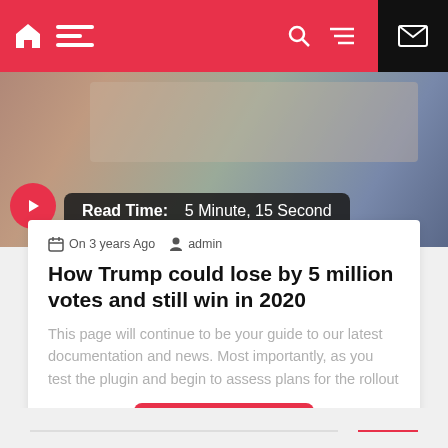Navigation bar with home, menu, dark mode, search, hamburger icons
[Figure (photo): Hero image showing hands with documents on a desk, with a read time overlay badge reading 'Read Time: 5 Minute, 15 Second' and a red video icon circle]
On 3 years Ago   admin
How Trump could lose by 5 million votes and still win in 2020
This page will continue to be your guide to our latest documentation and news. Most importantly, as you test the plugin and begin to assess plans for the rollout
Read More
Share icons: Facebook, Twitter, Pinterest, LinkedIn